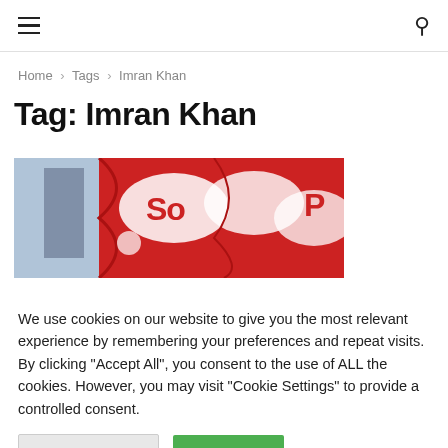≡  [search icon]
Home › Tags › Imran Khan
Tag: Imran Khan
[Figure (photo): Red flags/banners with white lettering partially visible, showing 'So' and 'P' on a red background]
We use cookies on our website to give you the most relevant experience by remembering your preferences and repeat visits. By clicking "Accept All", you consent to the use of ALL the cookies. However, you may visit "Cookie Settings" to provide a controlled consent.
Cookie Settings   Accept All